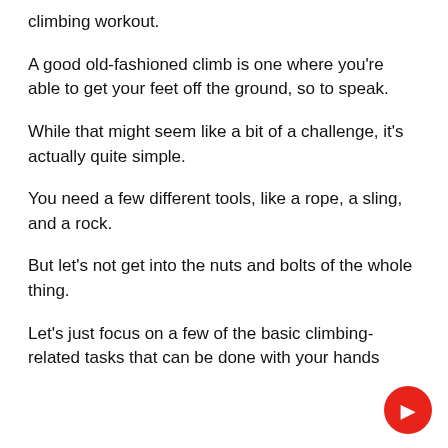climbing workout.
A good old-fashioned climb is one where you're able to get your feet off the ground, so to speak.
While that might seem like a bit of a challenge, it's actually quite simple.
You need a few different tools, like a rope, a sling, and a rock.
But let's not get into the nuts and bolts of the whole thing.
Let's just focus on a few of the basic climbing-related tasks that can be done with your hands